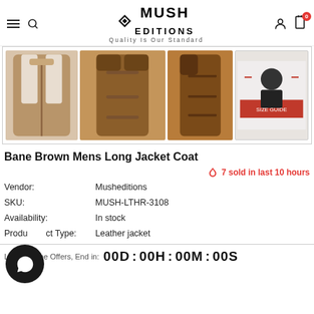MUSH EDITIONS — Quality Is Our Standard
[Figure (photo): Product gallery showing four views of Bane Brown Mens Long Jacket Coat: front open view showing fur lining, back view, side view, and size guide chart thumbnail]
Bane Brown Mens Long Jacket Coat
🔥 7 sold in last 10 hours
Vendor: Musheditions
SKU: MUSH-LTHR-3108
Availability: In stock
Product Type: Leather jacket
Limited Time Offers, End in: 00D : 00H : 00M : 00S